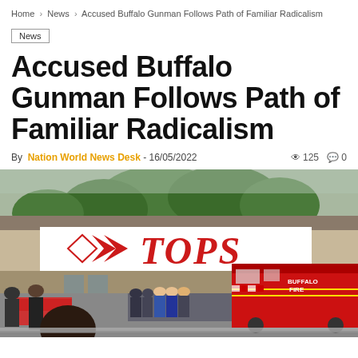Home > News > Accused Buffalo Gunman Follows Path of Familiar Radicalism
News
Accused Buffalo Gunman Follows Path of Familiar Radicalism
By Nation World News Desk - 16/05/2022  👁 125  💬 0
[Figure (photo): Exterior of a Tops supermarket with a Buffalo Fire emergency vehicle parked in front and a crowd of people including police officers gathered outside. A person stands in the foreground.]